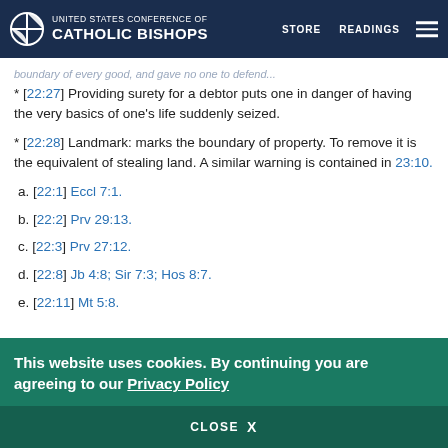UNITED STATES CONFERENCE OF CATHOLIC BISHOPS | STORE | READINGS
* [22:27] Providing surety for a debtor puts one in danger of having the very basics of one’s life suddenly seized.
* [22:28] Landmark: marks the boundary of property. To remove it is the equivalent of stealing land. A similar warning is contained in 23:10.
a. [22:1] Eccl 7:1.
b. [22:2] Prv 29:13.
c. [22:3] Prv 27:12.
d. [22:8] Jb 4:8; Sir 7:3; Hos 8:7.
e. [22:11] Mt 5:8.
This website uses cookies. By continuing you are agreeing to our Privacy Policy
CLOSE X